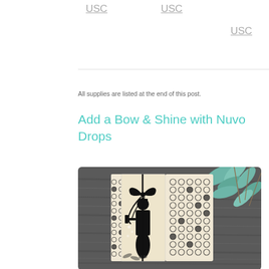USC  USC  USC  US
All supplies are listed at the end of this post.
Add a Bow & Shine with Nuvo Drops
[Figure (photo): Craft card with black and white patterned paper featuring circles design, a black ribbon bow, a stamped silhouette of a woman in vintage style clothing, placed on a dark wooden surface with eucalyptus leaves in the top right corner.]